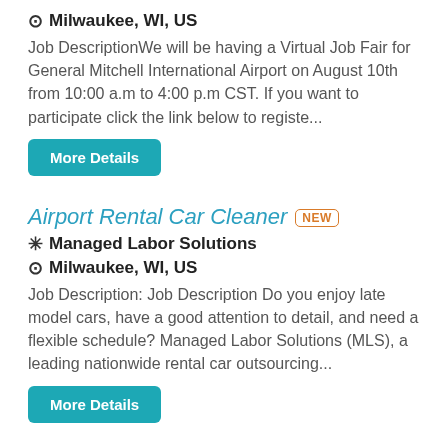⊙ Milwaukee, WI, US
Job DescriptionWe will be having a Virtual Job Fair for General Mitchell International Airport on August 10th from 10:00 a.m to 4:00 p.m CST. If you want to participate click the link below to registe...
More Details
Airport Rental Car Cleaner NEW
❊ Managed Labor Solutions
⊙ Milwaukee, WI, US
Job Description: Job Description Do you enjoy late model cars, have a good attention to detail, and need a flexible schedule? Managed Labor Solutions (MLS), a leading nationwide rental car outsourcing...
More Details
Airport Shuttle Driver at Interflight Parking